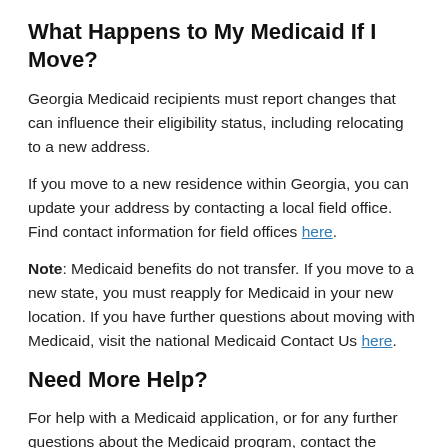What Happens to My Medicaid If I Move?
Georgia Medicaid recipients must report changes that can influence their eligibility status, including relocating to a new address.
If you move to a new residence within Georgia, you can update your address by contacting a local field office. Find contact information for field offices here.
Note: Medicaid benefits do not transfer. If you move to a new state, you must reapply for Medicaid in your new location. If you have further questions about moving with Medicaid, visit the national Medicaid Contact Us here.
Need More Help?
For help with a Medicaid application, or for any further questions about the Medicaid program, contact the Georgia Division of Family and Children Services: